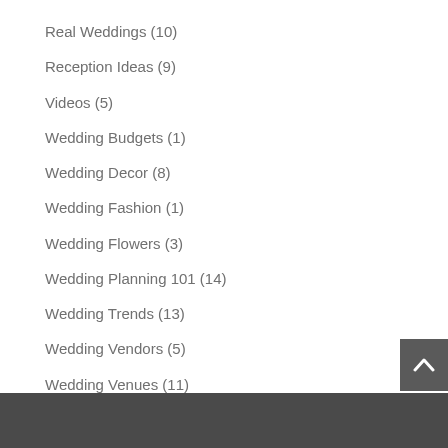Real Weddings (10)
Reception Ideas (9)
Videos (5)
Wedding Budgets (1)
Wedding Decor (8)
Wedding Fashion (1)
Wedding Flowers (3)
Wedding Planning 101 (14)
Wedding Trends (13)
Wedding Vendors (5)
Wedding Venues (11)